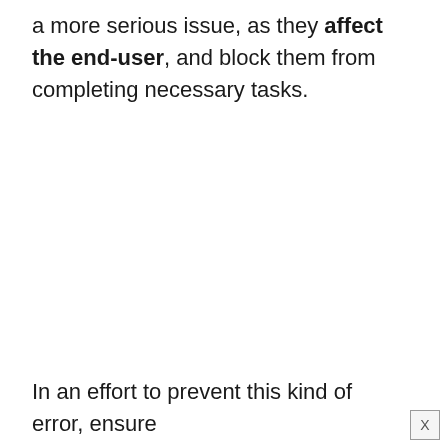a more serious issue, as they affect the end-user, and block them from completing necessary tasks.
In an effort to prevent this kind of error, ensure